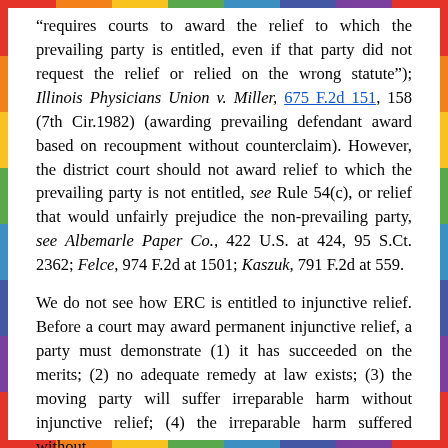"requires courts to award the relief to which the prevailing party is entitled, even if that party did not request the relief or relied on the wrong statute"); Illinois Physicians Union v. Miller, 675 F.2d 151, 158 (7th Cir.1982) (awarding prevailing defendant award based on recoupment without counterclaim). However, the district court should not award relief to which the prevailing party is not entitled, see Rule 54(c), or relief that would unfairly prejudice the non-prevailing party, see Albemarle Paper Co., 422 U.S. at 424, 95 S.Ct. 2362; Felce, 974 F.2d at 1501; Kaszuk, 791 F.2d at 559.
We do not see how ERC is entitled to injunctive relief. Before a court may award permanent injunctive relief, a party must demonstrate (1) it has succeeded on the merits; (2) no adequate remedy at law exists; (3) the moving party will suffer irreparable harm without injunctive relief; (4) the irreparable harm suffered without